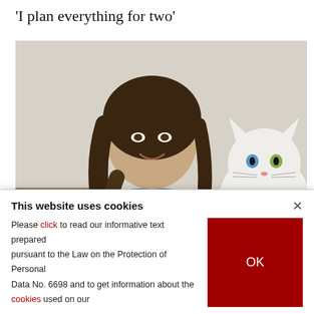'I plan everything for two'
[Figure (photo): A young woman with long brown wavy hair wearing a denim jacket smiles while holding a white cat with heterochromia (one blue eye, one green eye). The background is a neutral light-colored room.]
This website uses cookies
Please click to read our informative text prepared pursuant to the Law on the Protection of Personal Data No. 6698 and to get information about the cookies used on our